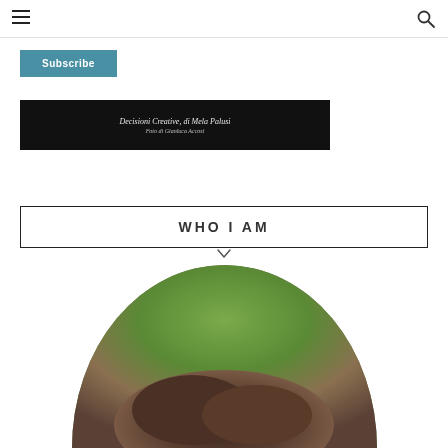Navigation header with hamburger menu and search icon
Subscribe
[Figure (photo): Dark banner image with italic text reading 'Decisioni Creative, di Mela Palusi' and subtitle 'Foto di Gianluca Accosi']
WHO I AM
[Figure (photo): Circular cropped profile photo showing top of a person's head with dark hair against green foliage background]